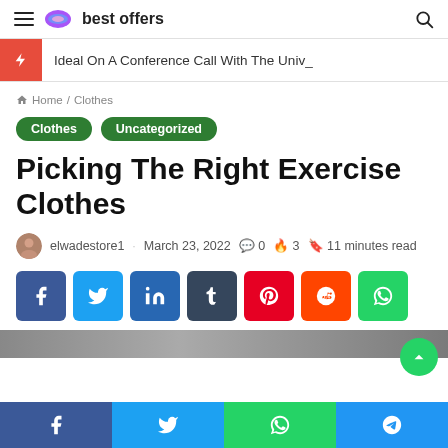best offers
Ideal On A Conference Call With The Univ_
Home / Clothes
Clothes  Uncategorized
Picking The Right Exercise Clothes
elwadestore1  ·  March 23, 2022  💬 0  🔥 3  🔖 11 minutes read
[Figure (screenshot): Social share buttons: Facebook, Twitter, LinkedIn, Tumblr, Pinterest, Reddit, WhatsApp]
[Figure (screenshot): Partial image at page bottom edge]
Facebook  Twitter  WhatsApp  Telegram